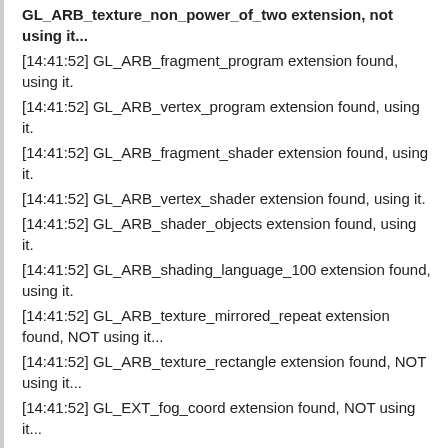GL_ARB_texture_non_power_of_two extension, not using it...
[14:41:52] GL_ARB_fragment_program extension found, using it.
[14:41:52] GL_ARB_vertex_program extension found, using it.
[14:41:52] GL_ARB_fragment_shader extension found, using it.
[14:41:52] GL_ARB_vertex_shader extension found, using it.
[14:41:52] GL_ARB_shader_objects extension found, using it.
[14:41:52] GL_ARB_shading_language_100 extension found, using it.
[14:41:52] GL_ARB_texture_mirrored_repeat extension found, NOT using it...
[14:41:52] GL_ARB_texture_rectangle extension found, NOT using it...
[14:41:52] GL_EXT_fog_coord extension found, NOT using it...
[14:41:52] Couldn't find the GL_ATI_texture_compression_3dc extension, not using it...
[14:41:52] Couldn't find the GL_EXT_texture_compression_latc extension, not using it...
[14:41:53] Error opening sound configuration file (not this at